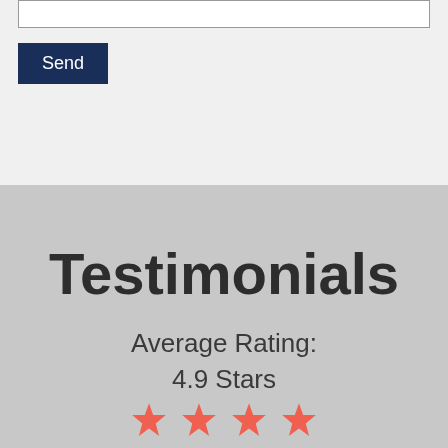[Figure (screenshot): Textarea input box at the top of a web form]
Send
Testimonials
Average Rating:
4.9 Stars
[Figure (infographic): Four red/coral star rating icons representing a 4.9 star average rating]